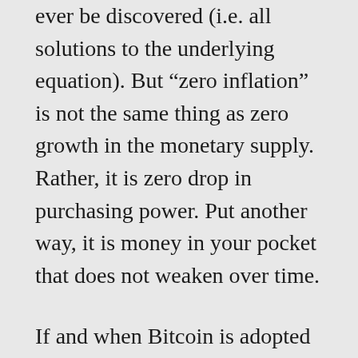ever be discovered (i.e. all solutions to the underlying equation). But “zero inflation” is not the same thing as zero growth in the monetary supply. Rather, it is zero drop in purchasing power. Put another way, it is money in your pocket that does not weaken over time.
If and when Bitcoin is adopted by a growing number of individuals (not just as a speculative asset, but as a monetary instrument)—and especially as it is acquired without the intent of immediately converting to regional currencies, the bitcoin in your pocket or your cloud wallet appreciates in value. In fact, when you combine increasing